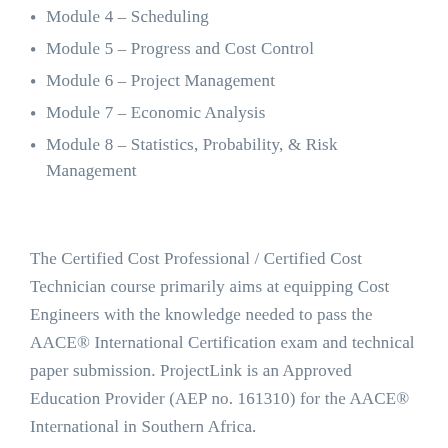Module 4 – Scheduling
Module 5 – Progress and Cost Control
Module 6 – Project Management
Module 7 – Economic Analysis
Module 8 – Statistics, Probability, & Risk Management
The Certified Cost Professional / Certified Cost Technician course primarily aims at equipping Cost Engineers with the knowledge needed to pass the AACE® International Certification exam and technical paper submission. ProjectLink is an Approved Education Provider (AEP no. 161310) for the AACE® International in Southern Africa.